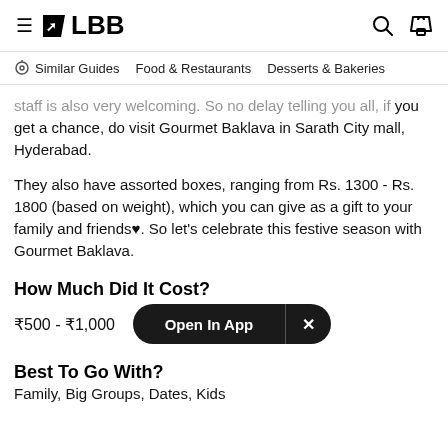≡ LBB  🔍 🛍
Similar Guides   Food & Restaurants   Desserts & Bakeries
...staff is also very welcoming. So no delay telling you all, if you get a chance, do visit Gourmet Baklava in Sarath City mall, Hyderabad.
They also have assorted boxes, ranging from Rs. 1300 - Rs. 1800 (based on weight), which you can give as a gift to your family and friends♥. So let's celebrate this festive season with Gourmet Baklava.
How Much Did It Cost?
₹500 - ₹1,000
Best To Go With?
Family, Big Groups, Dates, Kids...